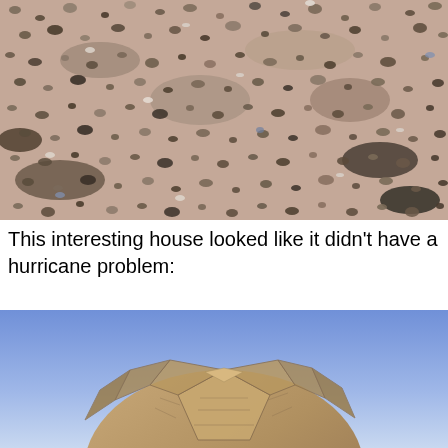[Figure (photo): Close-up photograph of sandy beach ground covered with small pebbles, gravel, and rocks of various sizes and colors (brown, gray, black, beige). The surface fills the entire frame showing a typical rocky beach or desert terrain.]
This interesting house looked like it didn't have a hurricane problem:
[Figure (photo): Photograph of the top portion of a dome-shaped house with a faceted, geodesic or polygonal roof covered in brown/tan shingles or wooden panels, set against a clear blue sky. Only the upper dome/roof portion is visible.]